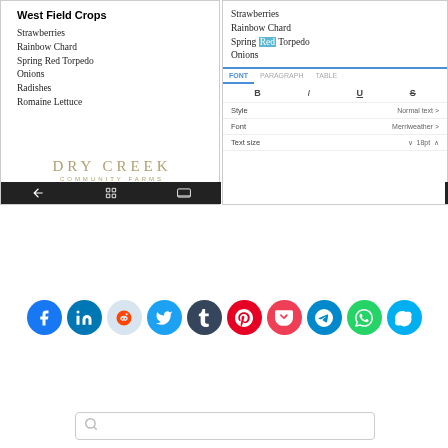[Figure (screenshot): Two mobile app screenshots side by side. Left: document titled 'West Field Crops' listing Strawberries, Rainbow Chard, Spring Red Torpedo Onions, Radishes, Romaine Lettuce with Dry Creek Community Farms logo. Right: same document with 'Red' highlighted, showing font formatting panel with FONT/PARAGRAPH/TABLE tabs, B/I/U/S buttons, Style: Normal text, Font: Merriweather, Text size: 18pt.]
[Figure (infographic): Row of 10 social sharing icon buttons: Facebook (blue), LinkedIn (blue), Reddit (light blue/gray), Twitter (blue), Tumblr (dark navy), Pinterest (red), Pocket (pink-red), Telegram (blue), WhatsApp (green), Skype (light blue)]
[Figure (screenshot): Search bar with magnifying glass icon at the bottom of the page]